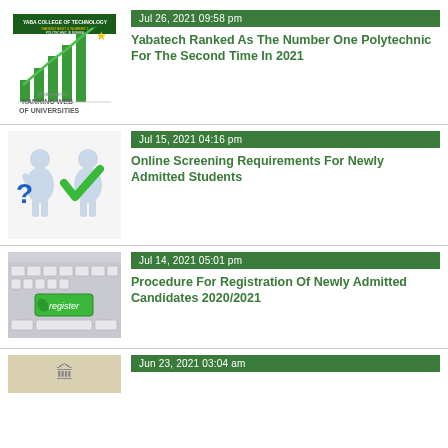[Figure (screenshot): Yaba College of Technology Webometrics Ranking Web of Universities infographic with bar chart and upward arrow]
Jul 26, 2021 09:58 pm
Yabatech Ranked As The Number One Polytechnic For The Second Time In 2021
[Figure (illustration): Two figures: one holding a blue question mark and one holding a green checkmark]
Jul 15, 2021 04:16 pm
Online Screening Requirements For Newly Admitted Students
[Figure (photo): Keyboard with green register key]
Jul 14, 2021 05:01 pm
Procedure For Registration Of Newly Admitted Candidates 2020/2021
[Figure (photo): Partial thumbnail of fourth news item]
Jun 23, 2021 03:04 am